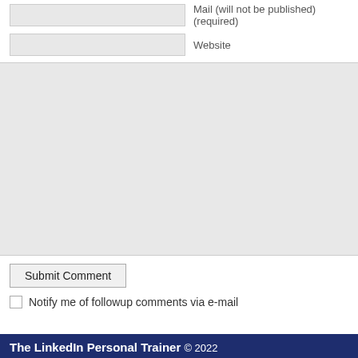Mail (will not be published) (required)
Website
Submit Comment
Notify me of followup comments via e-mail
The LinkedIn Personal Trainer © 2022